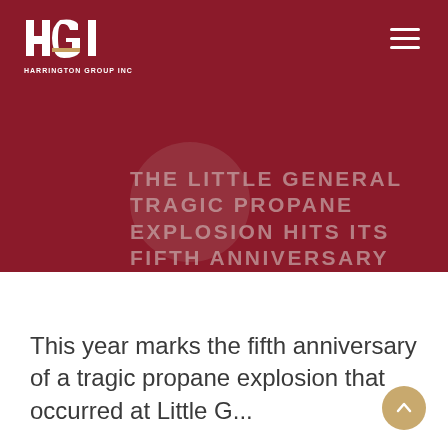[Figure (logo): HGI Harrington Group Inc logo — white letters HGI with gold bar, white text HARRINGTON GROUP INC below]
THE LITTLE GENERAL TRAGIC PROPANE EXPLOSION HITS ITS FIFTH ANNIVERSARY
This year marks the fifth anniversary of a tragic propane explosion that occurred at Little G...